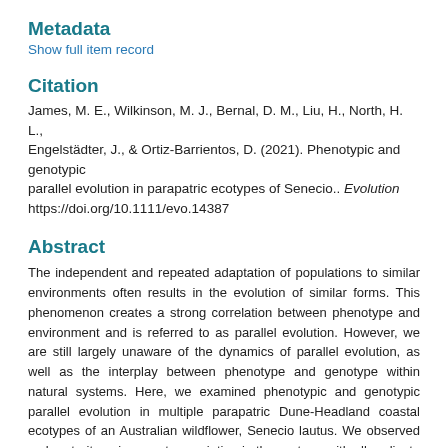Metadata
Show full item record
Citation
James, M. E., Wilkinson, M. J., Bernal, D. M., Liu, H., North, H. L., Engelstädter, J., & Ortiz-Barrientos, D. (2021). Phenotypic and genotypic parallel evolution in parapatric ecotypes of Senecio.. Evolution https://doi.org/10.1111/evo.14387
Abstract
The independent and repeated adaptation of populations to similar environments often results in the evolution of similar forms. This phenomenon creates a strong correlation between phenotype and environment and is referred to as parallel evolution. However, we are still largely unaware of the dynamics of parallel evolution, as well as the interplay between phenotype and genotype within natural systems. Here, we examined phenotypic and genotypic parallel evolution in multiple parapatric Dune-Headland coastal ecotypes of an Australian wildflower, Senecio lautus. We observed a clear trait-environment association in the system, with all replicate populations having evolved along the same phenotypic evolutionary trajectory. Similar phenotypes have arisen via mutational changes occurring in different genes, although many share the same biological functions. Our results shed light on how replicated adaptation manifests at the phenotypic and genotypic levels